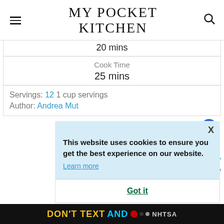MY POCKET KITCHEN
20 mins
Cook Time
25 mins
Servings: 12 1 cup servings
Author: Andrea Mut
This website uses cookies to ensure you get the best experience on our website.
Learn more
Got it